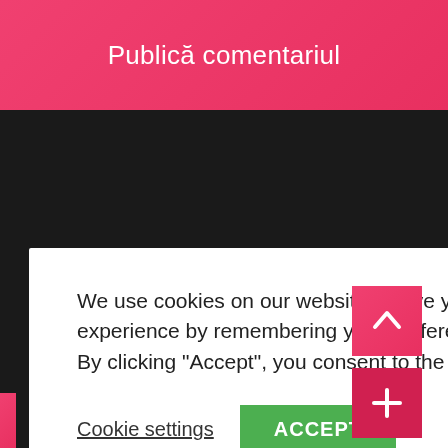Publică comentariul
We use cookies on our website to give you the most relevant experience by remembering your preferences and repeat visits. By clicking “Accept”, you consent to the use of ALL the cookies.
Cookie settings
ACCEPT